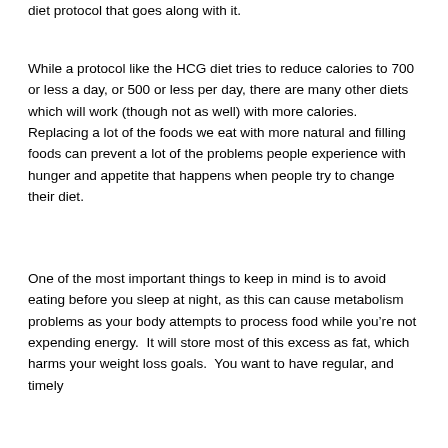diet protocol that goes along with it.
While a protocol like the HCG diet tries to reduce calories to 700 or less a day, or 500 or less per day, there are many other diets which will work (though not as well) with more calories.  Replacing a lot of the foods we eat with more natural and filling foods can prevent a lot of the problems people experience with hunger and appetite that happens when people try to change their diet.
One of the most important things to keep in mind is to avoid eating before you sleep at night, as this can cause metabolism problems as your body attempts to process food while you're not expending energy.  It will store most of this excess as fat, which harms your weight loss goals.  You want to have regular, and timely